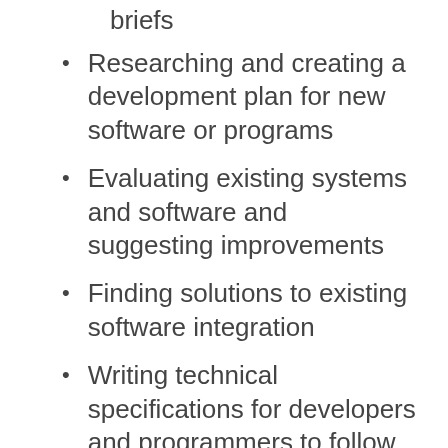briefs
Researching and creating a development plan for new software or programs
Evaluating existing systems and software and suggesting improvements
Finding solutions to existing software integration
Writing technical specifications for developers and programmers to follow
Deciding on test procedures and maintenance systems for